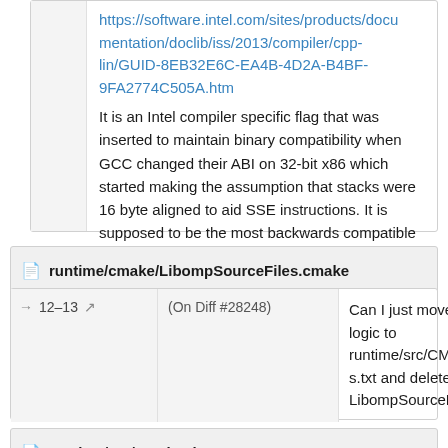https://software.intel.com/sites/products/documentation/doclib/iss/2013/compiler/cpp-lin/GUID-8EB32E6C-EA4B-4D2A-B4BF-9FA2774C505A.htm
It is an Intel compiler specific flag that was inserted to maintain binary compatibility when GCC changed their ABI on 32-bit x86 which started making the assumption that stacks were 16 byte aligned to aid SSE instructions. It is supposed to be the most backwards compatible flag.
runtime/cmake/LibompSourceFiles.cmake
| Lines | Diff | Comment |
| --- | --- | --- |
| 12–13 ↗ | (On Diff #28248) | Can I just move this logic to runtime/src/CMakeLists.txt and delete LibompSourceFiles? |
runtime/src/CMakeLists.txt